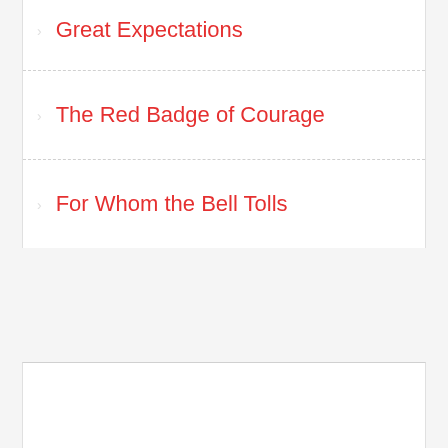Great Expectations
The Red Badge of Courage
For Whom the Bell Tolls